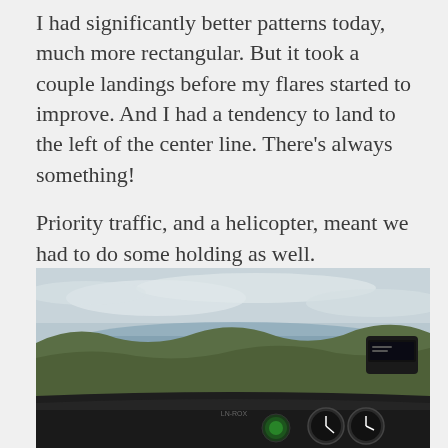I had significantly better patterns today, much more rectangular. But it took a couple landings before my flares started to improve. And I had a tendency to land to the left of the center line. There's always something!
Priority traffic, and a helicopter, meant we had to do some holding as well.
[Figure (photo): View from inside a small aircraft cockpit showing landscape below with water, coastline, green hills, and overcast sky. Cockpit instruments and a black avionics unit visible in the foreground.]